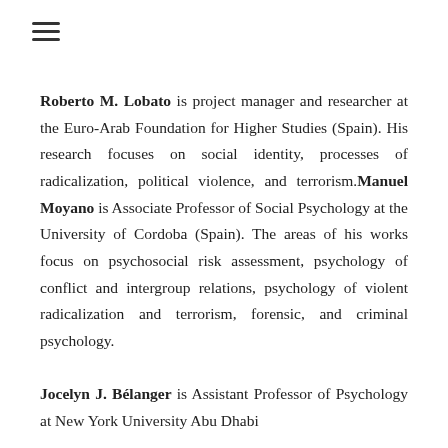≡
Roberto M. Lobato is project manager and researcher at the Euro-Arab Foundation for Higher Studies (Spain). His research focuses on social identity, processes of radicalization, political violence, and terrorism.Manuel Moyano is Associate Professor of Social Psychology at the University of Cordoba (Spain). The areas of his works focus on psychosocial risk assessment, psychology of conflict and intergroup relations, psychology of violent radicalization and terrorism, forensic, and criminal psychology.
Jocelyn J. Bélanger is Assistant Professor of Psychology at New York University Abu Dhabi...